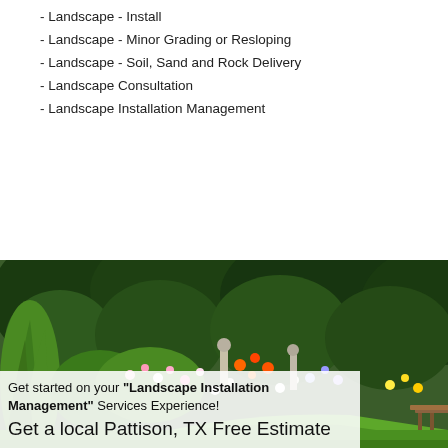- Landscape - Install
- Landscape - Minor Grading or Resloping
- Landscape - Soil, Sand and Rock Delivery
- Landscape Consultation
- Landscape Installation Management
[Figure (photo): A lush garden with colorful flowers, tall grasses, and dense green trees in the background, with a wooden table visible at the right edge.]
Get started on your "Landscape Installation Management" Services Experience!
Get a local Pattison, TX Free Estimate